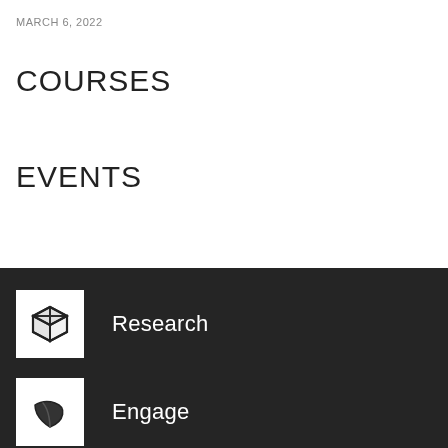MARCH 6, 2022
COURSES
EVENTS
[Figure (illustration): White square icon with a 3D box/cube outline on dark background]
Research
[Figure (illustration): White square icon with a green leaf outline on dark background]
Engage